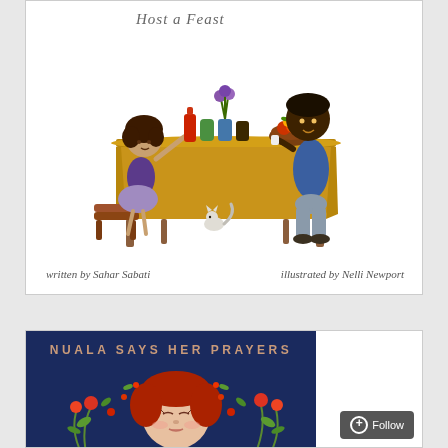[Figure (illustration): Children's book cover titled 'Host a Feast' showing a young girl in a purple outfit standing on a step stool at a dining table with a yellow tablecloth, reaching up toward bottles and a vase of flowers, while a tall dark-skinned man stands on the other side of the table with a basket of fruit. A cat is near the table. Cursive text below reads 'written by Sahar Sabati' on the left and 'illustrated by Nelli Newport' on the right.]
[Figure (illustration): Children's book cover with dark navy blue background titled 'NUALA SAYS HER PRAYERS' in spaced capital letters in a tan/rose color. Below the title is a partial illustration of a young girl with red hair and closed eyes surrounded by floral and leaf designs in red, orange, and green.]